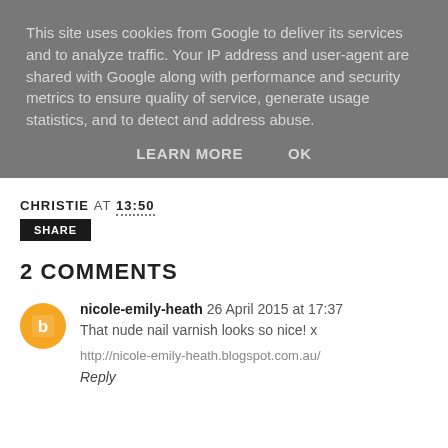This site uses cookies from Google to deliver its services and to analyze traffic. Your IP address and user-agent are shared with Google along with performance and security metrics to ensure quality of service, generate usage statistics, and to detect and address abuse.
LEARN MORE    OK
CHRISTIE AT 13:50
SHARE
2 COMMENTS
nicole-emily-heath  26 April 2015 at 17:37
That nude nail varnish looks so nice! x
http://nicole-emily-heath.blogspot.com.au/
Reply